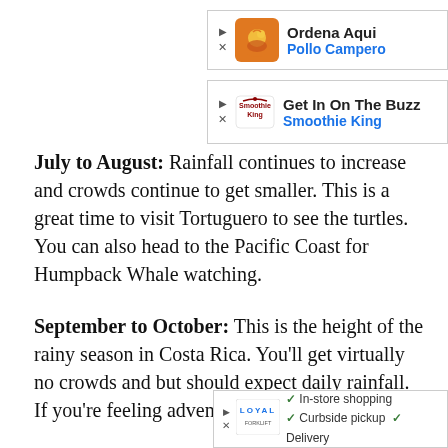[Figure (other): Advertisement for Pollo Campero: 'Ordena Aqui / Pollo Campero' with orange logo icon]
[Figure (other): Advertisement for Smoothie King: 'Get In On The Buzz / Smoothie King' with logo]
July to August: Rainfall continues to increase and crowds continue to get smaller. This is a great time to visit Tortuguero to see the turtles. You can also head to the Pacific Coast for Humpback Whale watching.
September to October: This is the height of the rainy season in Costa Rica. You'll get virtually no crowds and but should expect daily rainfall. If you're feeling adventurous
[Figure (other): Advertisement for Loyal Forklift: In-store shopping, Curbside pickup, Delivery]